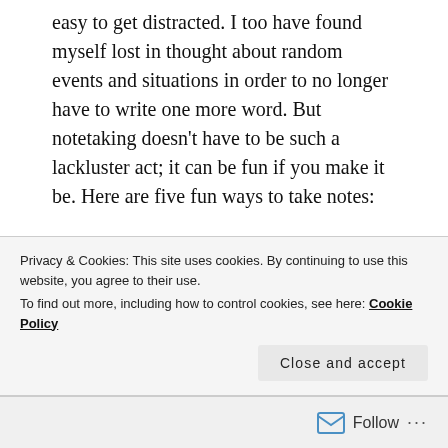easy to get distracted. I too have found myself lost in thought about random events and situations in order to no longer have to write one more word. But notetaking doesn't have to be such a lackluster act; it can be fun if you make it be. Here are five fun ways to take notes:
1.Bullet journaling
Bullet journaling has become popular in recent years. However, instead of using it for random doodles and sleep schedules you can draw flow charts and write need to know phrases. Using a bullet journal for your
Privacy & Cookies: This site uses cookies. By continuing to use this website, you agree to their use.
To find out more, including how to control cookies, see here: Cookie Policy
Close and accept
Follow